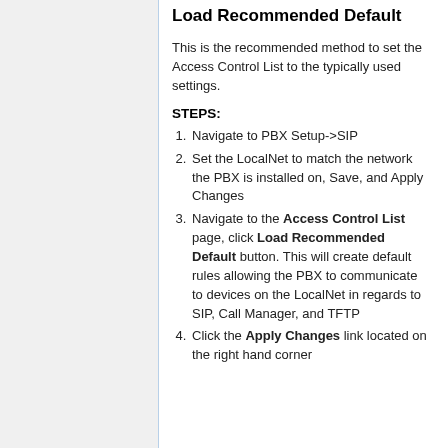Load Recommended Default
This is the recommended method to set the Access Control List to the typically used settings.
STEPS:
Navigate to PBX Setup->SIP
Set the LocalNet to match the network the PBX is installed on, Save, and Apply Changes
Navigate to the Access Control List page, click Load Recommended Default button. This will create default rules allowing the PBX to communicate to devices on the LocalNet in regards to SIP, Call Manager, and TFTP
Click the Apply Changes link located on the right hand corner